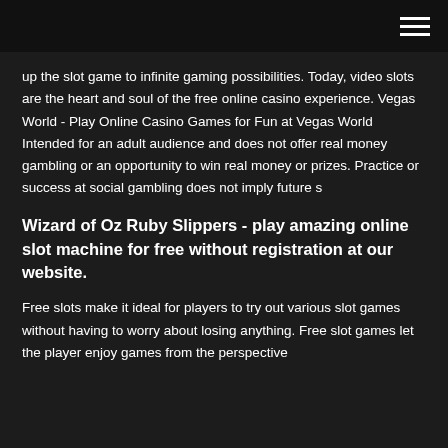up the slot game to infinite gaming possibilities. Today, video slots are the heart and soul of the free online casino experience. Vegas World - Play Online Casino Games for Fun at Vegas World Intended for an adult audience and does not offer real money gambling or an opportunity to win real money or prizes. Practice or success at social gambling does not imply future s
Wizard of Oz Ruby Slippers - play amazing online slot machine for free without registration at our website.
Free slots make it ideal for players to try out various slot games without having to worry about losing anything. Free slot games let the player enjoy games from the perspective